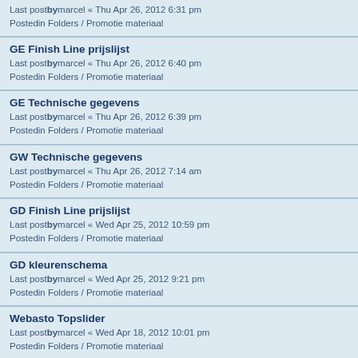Last postbymarcel « Thu Apr 26, 2012 6:31 pm
Postedin Folders / Promotie materiaal
GE Finish Line prijslijst
Last postbymarcel « Thu Apr 26, 2012 6:40 pm
Postedin Folders / Promotie materiaal
GE Technische gegevens
Last postbymarcel « Thu Apr 26, 2012 6:39 pm
Postedin Folders / Promotie materiaal
GW Technische gegevens
Last postbymarcel « Thu Apr 26, 2012 7:14 am
Postedin Folders / Promotie materiaal
GD Finish Line prijslijst
Last postbymarcel « Wed Apr 25, 2012 10:59 pm
Postedin Folders / Promotie materiaal
GD kleurenschema
Last postbymarcel « Wed Apr 25, 2012 9:21 pm
Postedin Folders / Promotie materiaal
Webasto Topslider
Last postbymarcel « Wed Apr 18, 2012 10:01 pm
Postedin Folders / Promotie materiaal
GE Sedan promo foto's
Last postbymarcel « Tue Sep 27, 2011 5:40 pm
Postedin Folders / Promotie materiaal
GF Hatchback promo foto's
Last postbymarcel « Tue Sep 27, 2011 2:37 am
Postedin Folders / Promotie materiaal